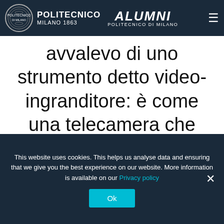Politecnico Milano 1863 — ALUMNI Politecnico di Milano
molto. A lezione mi avvalevo di uno strumento detto video-ingranditore: è come una telecamera che riprende la lavagna e la restituisce ingrandita sul portatile.
This website uses cookies. This helps us analyse data and ensuring that we give you the best experience on our website. More information is available on our Privacy policy
Ok